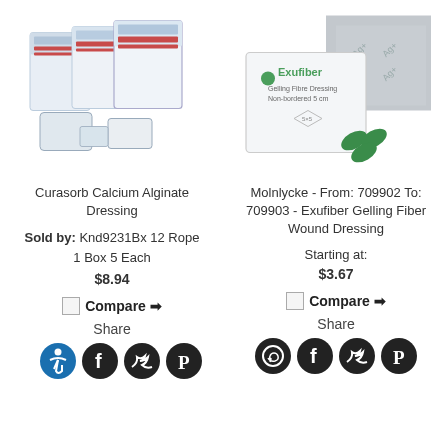[Figure (photo): Curasorb Calcium Alginate Dressing product packaging — multiple boxes and dressing pads shown]
[Figure (photo): Molnlycke Exufiber Gelling Fiber Wound Dressing product packaging — white box and silver wound dressing pads with Ag+ markings]
Curasorb Calcium Alginate Dressing
Molnlycke - From: 709902 To: 709903 - Exufiber Gelling Fiber Wound Dressing
Sold by: Knd9231Bx 12 Rope 1 Box 5 Each
$8.94
Starting at: $3.67
Compare
Share
Compare
Share